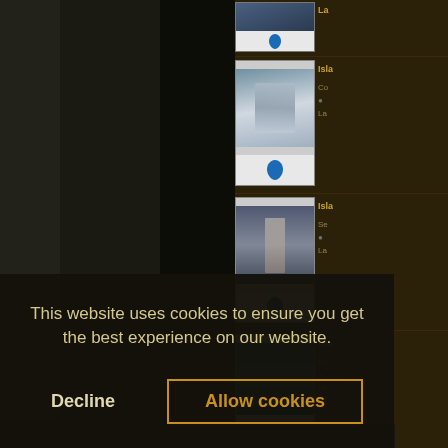[Figure (screenshot): Screenshot of a Magic: The Gathering card database website showing card thumbnails in the right sidebar with blue mana symbol cards (Islands). The left portion shows a dark main panel. A cookie consent overlay appears at the bottom.]
This website uses cookies to ensure you get the best experience on our website.
Decline
Allow cookies